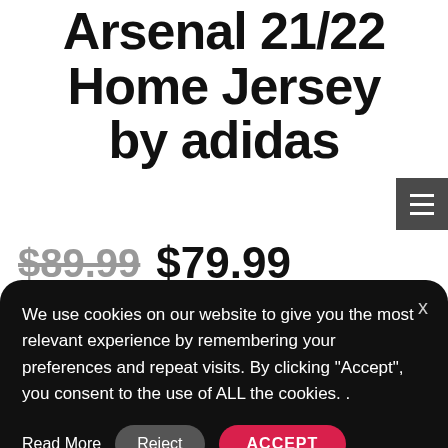Arsenal 21/22 Home Jersey by adidas
$89.99 $79.99
We use cookies on our website to give you the most relevant experience by remembering your preferences and repeat visits. By clicking “Accept”, you consent to the use of ALL the cookies. .
Read More  Reject  ACCEPT  Cookie settings